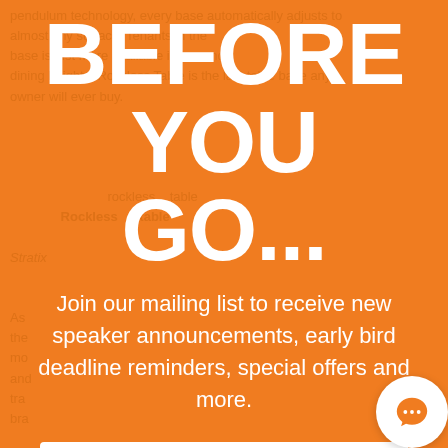BEFORE YOU GO...
Join our mailing list to receive new speaker announcements, early bird deadline reminders, special offers and more.
[Figure (other): Email signup form with two input fields: 'Enter your name here...' and 'Enter your email here...']
[Figure (illustration): Chat bubble icon in orange with three white dots, circular white background, positioned at bottom right corner]